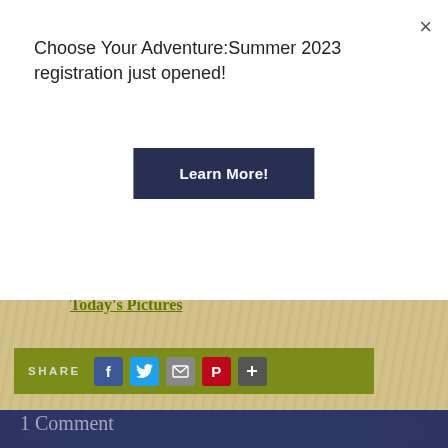×
Choose Your Adventure:Summer 2023 registration just opened!
Learn More!
Today's Pictures
SHARE
1 Comment
August 8, 2017 BY Auguste
Thank you for your elequent writing; sharing with us what our boys are up to. I love readin tour daily blogs-I love knowing what Bryce is up to each day and envisioning his adventures at camp with you. Thank